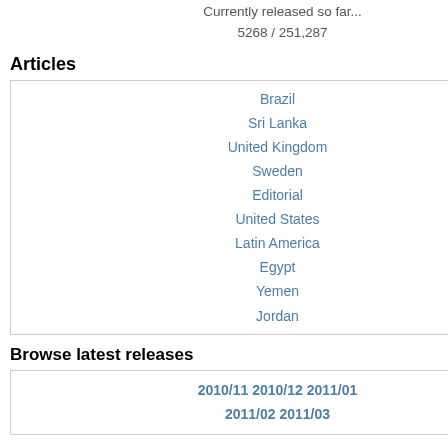Currently released so far...
5268 / 251,287
Articles
Brazil
Sri Lanka
United Kingdom
Sweden
Editorial
United States
Latin America
Egypt
Yemen
Jordan
Browse latest releases
2010/11 2010/12 2011/01 2011/02 2011/03
Browse by creation date
66 72 73 75 79 86 88 89 90 00 01 02 03 04 05 06 07 08 09 10
| Cable ID | Title |
| --- | --- |
| 06SAOPAULO505 | A BUS... READI... SIGNS... |
| 05SANJOSE1712 | COSTA... COMBA... |
| 05SANJOSE2215 | STUDE... MARCH... |
| 05SANJOSE2689 | ANTI-C... PROTE... |
| 05SANJOSE2727 | CAFTA... APPRO... |
| 06SANJOSE612 | COSTA... CAFTA... |
| 06SANJOSE643 | ANTI-C... THE |
| 06SANJOSE1276 | IMPACT... |